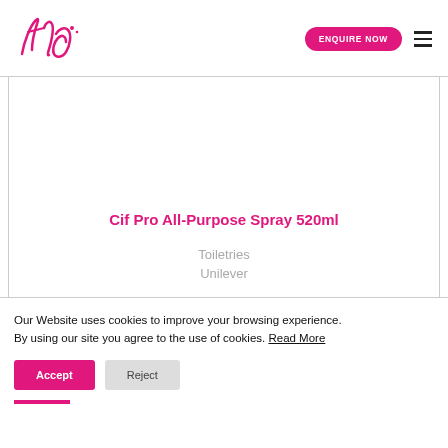tio. ENQUIRE NOW [hamburger menu]
Cif Pro All-Purpose Spray 520ml
Toiletries
Unilever
Our Website uses cookies to improve your browsing experience. By using our site you agree to the use of cookies. Read More
Accept
Reject